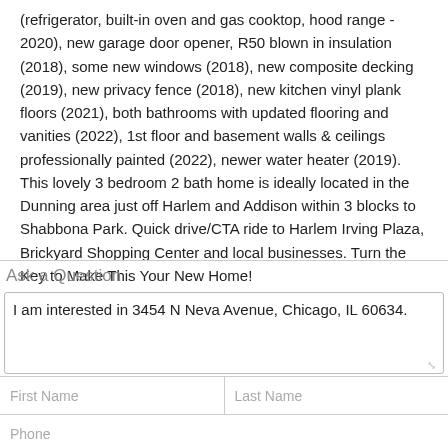(refrigerator, built-in oven and gas cooktop, hood range - 2020), new garage door opener, R50 blown in insulation (2018), some new windows (2018), new composite decking (2019), new privacy fence (2018), new kitchen vinyl plank floors (2021), both bathrooms with updated flooring and vanities (2022), 1st floor and basement walls & ceilings professionally painted (2022), newer water heater (2019). This lovely 3 bedroom 2 bath home is ideally located in the Dunning area just off Harlem and Addison within 3 blocks to Shabbona Park. Quick drive/CTA ride to Harlem Irving Plaza, Brickyard Shopping Center and local businesses. Turn the Key to Make This Your New Home!
Ask a Question
I am interested in 3454 N Neva Avenue, Chicago, IL 60634.
First Name
Last Name
Phone